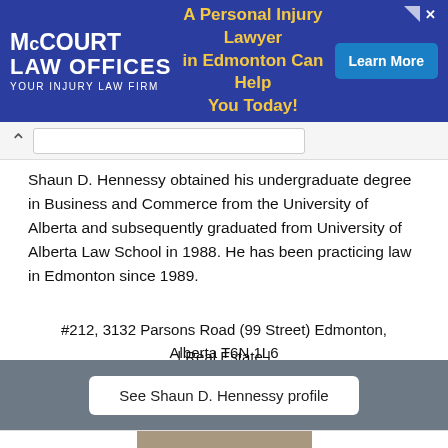[Figure (infographic): McCourt Law Offices ad banner: blue background, logo on left, text 'A Personal Injury Lawyer in Edmonton Can Help You Today!' in center, 'Learn More' button on right.]
Shaun D. Hennessy obtained his undergraduate degree in Business and Commerce from the University of Alberta and subsequently graduated from University of Alberta Law School in 1988. He has been practicing law in Edmonton since 1989.
#212, 3132 Parsons Road (99 Street) Edmonton, Alberta T6N 1L6
| Real Estate |
See Shaun D. Hennessy profile
[Figure (photo): Partial view of a profile photo of a person, cropped at bottom of page.]